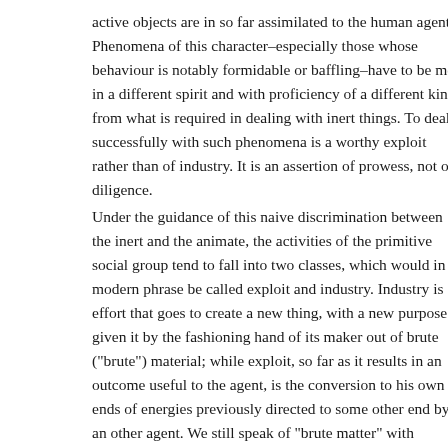active objects are in so far assimilated to the human agent. Phenomena of this character–especially those whose behaviour is notably formidable or baffling–have to be met in a different spirit and with a proficiency of a different kind from what is required in dealing with inert things. To deal successfully with such phenomena is a worthy exploit rather than of industry. It is an assertion of prowess, not of diligence.
Under the guidance of this naive discrimination between the inert and the animate, the activities of the primitive social group tend to fall into two classes, which would in modern phrase be called exploit and industry. Industry is effort that goes to create a new thing, with a new purpose given it by the fashioning hand of its maker out of brute ("brute") material; while exploit, so far as it results in an outcome useful to the agent, is the conversion to his own ends of energies previously directed to some other end by an other agent. We still speak of "brute matter" with something of the barbarian's realisation of a profound significance in the term.